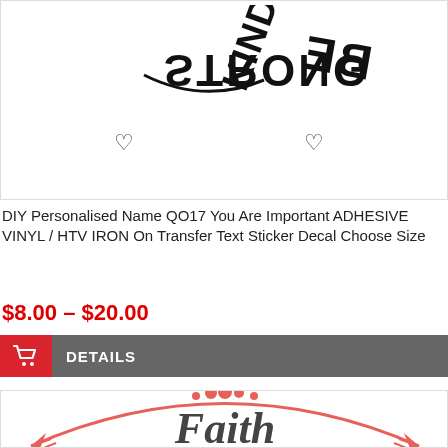[Figure (illustration): Product image showing reversed/mirrored text sticker design with words 'BE KIND STRONG' in black decorative lettering on white background]
DIY Personalised Name QO17 You Are Important ADHESIVE VINYL / HTV IRON On Transfer Text Sticker Decal Choose Size
$8.00 – $20.00
DETAILS
[Figure (illustration): Product image showing 'Faith' text in cursive dark lettering inside a coral/salmon colored arrow circle decoration with dots at top]